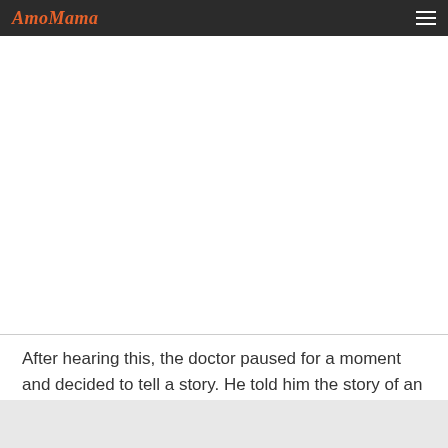AmoMama
After hearing this, the doctor paused for a moment and decided to tell a story. He told him the story of an avid hunter who never missed a hunting season. However, one day he left in a hurry and took his umbrella instead of his gun.